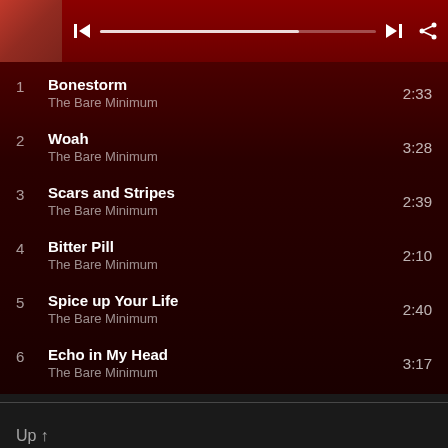[Figure (screenshot): Music player header with album art (cat image on red background), playback controls (previous, progress bar, next), and share icon]
1  Bonestorm  2:33
The Bare Minimum
2  Woah  3:28
The Bare Minimum
3  Scars and Stripes  2:39
The Bare Minimum
4  Bitter Pill  2:10
The Bare Minimum
5  Spice up Your Life  2:40
The Bare Minimum
6  Echo in My Head  3:17
The Bare Minimum
Up ↑